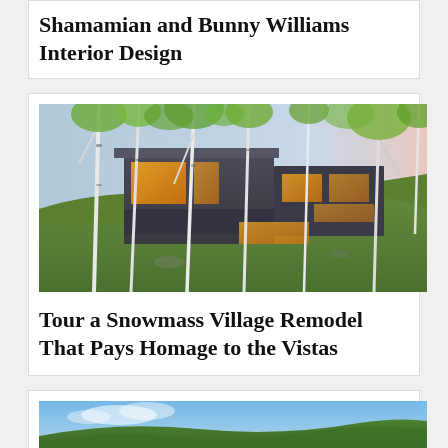Shamamian and Bunny Williams Interior Design
[Figure (photo): Exterior photo of a modern mountain house at dusk, surrounded by white birch trees on a green hillside, with warm glowing windows and a dark facade.]
Tour a Snowmass Village Remodel That Pays Homage to the Vistas
[Figure (photo): Partial photo showing a blue sky and green hillside, top of another article card.]